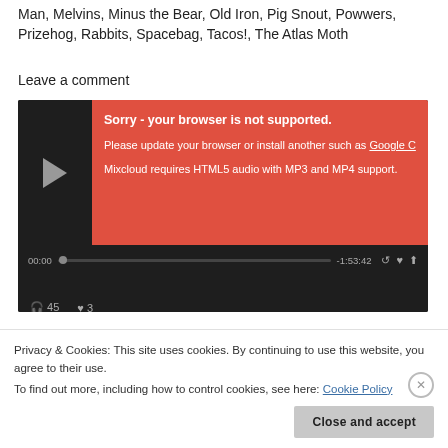Man, Melvins, Minus the Bear, Old Iron, Pig Snout, Powwers, Prizehog, Rabbits, Spacebag, Tacos!, The Atlas Moth
Leave a comment
[Figure (screenshot): Mixcloud audio player widget with dark background showing a play button, error message in red box: 'Sorry - your browser is not supported. Please update your browser or install another such as Google C... Mixcloud requires HTML5 audio with MP3 and MP4 support.' Progress bar showing 00:00 and -1:53:42, with headphones icon showing 45 and heart icon showing 3.]
Continue reading
Privacy & Cookies: This site uses cookies. By continuing to use this website, you agree to their use. To find out more, including how to control cookies, see here: Cookie Policy
Close and accept